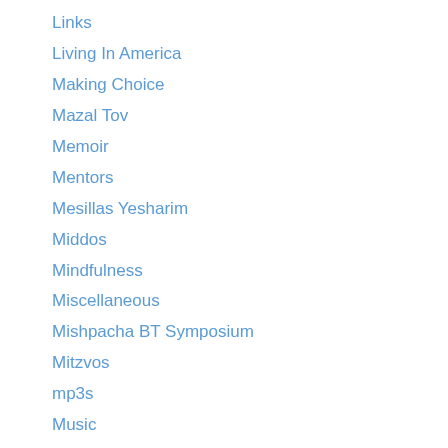Links
Living In America
Making Choice
Mazal Tov
Memoir
Mentors
Mesillas Yesharim
Middos
Mindfulness
Miscellaneous
Mishpacha BT Symposium
Mitzvos
mp3s
Music
Musical Chairs
Mussar
News
Off the Derech